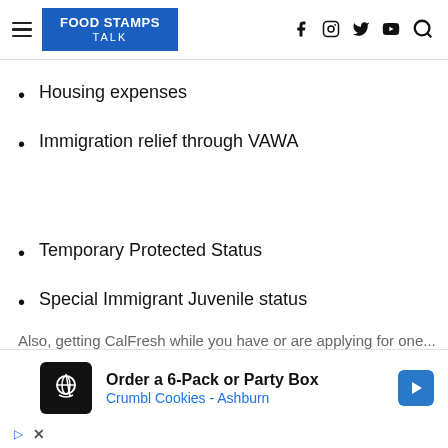FOOD STAMPS TALK
Housing expenses
Immigration relief through VAWA
Temporary Protected Status
Special Immigrant Juvenile status
Also, getting CalFresh while you have or are applying for one...
[Figure (screenshot): Advertisement banner: Order a 6-Pack or Party Box - Crumbl Cookies - Ashburn]